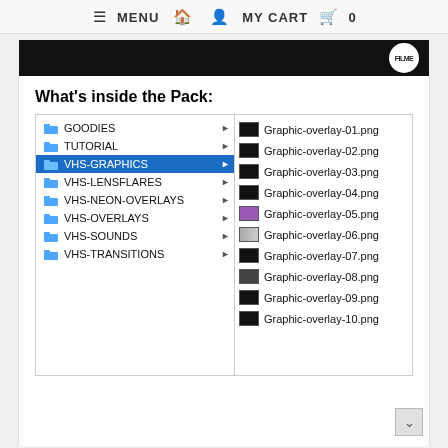≡ MENU  🏠  👤  MY CART  🛒  0
[Figure (screenshot): Dark banner/header image with a circular white logo on the right side]
What's inside the Pack:
[Figure (screenshot): File explorer showing two panes: left pane with folders (GOODIES, TUTORIAL, VHS-GRAPHICS selected, VHS-LENSFLARES, VHS-NEON-OVERLAYS, VHS-OVERLAYS, VHS-SOUNDS, VHS-TRANSITIONS), right pane with files (Graphic-overlay-01.png through Graphic-overlay-10.png)]